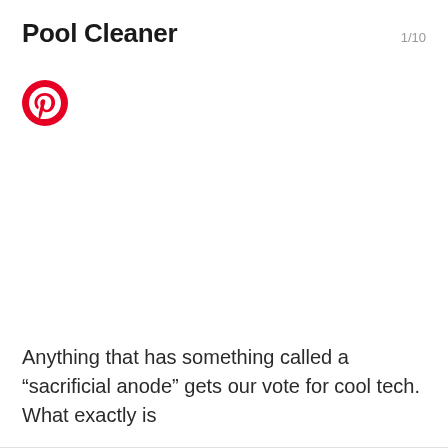Pool Cleaner
1/10
[Figure (logo): Pinterest logo — red circle with white 'P' pin icon]
Anything that has something called a “sacrificial anode” gets our vote for cool tech. What exactly is